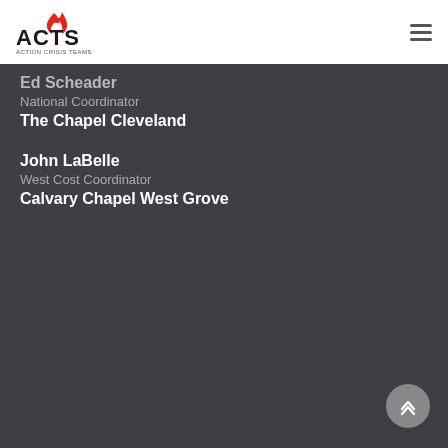[Figure (logo): ACTS Action Crisis Teams logo with red flame and cross icon]
Ed Scheader
National Coordinator
The Chapel Cleveland
John LaBelle
West Cost Coordinator
Calvary Chapel West Grove